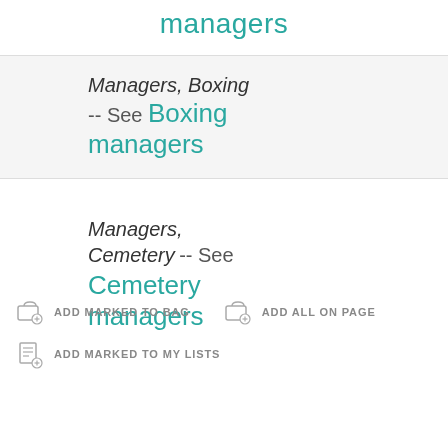managers
Managers, Boxing -- See Boxing managers
Managers, Cemetery -- See Cemetery managers
ADD MARKED TO BAG
ADD ALL ON PAGE
ADD MARKED TO MY LISTS